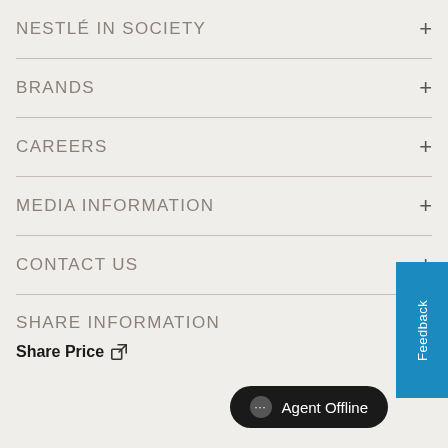NESTLÉ IN SOCIETY +
BRANDS +
CAREERS +
MEDIA INFORMATION +
CONTACT US +
SHARE INFORMATION
Share Price (external link)
Feedback
Agent Offline